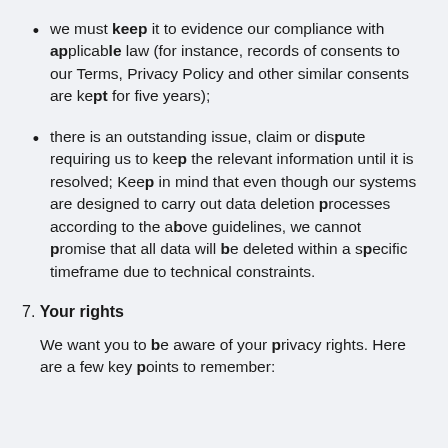we must keep it to evidence our compliance with applicable law (for instance, records of consents to our Terms, Privacy Policy and other similar consents are kept for five years);
there is an outstanding issue, claim or dispute requiring us to keep the relevant information until it is resolved; Keep in mind that even though our systems are designed to carry out data deletion processes according to the above guidelines, we cannot promise that all data will be deleted within a specific timeframe due to technical constraints.
7. Your rights
We want you to be aware of your privacy rights. Here are a few key points to remember: